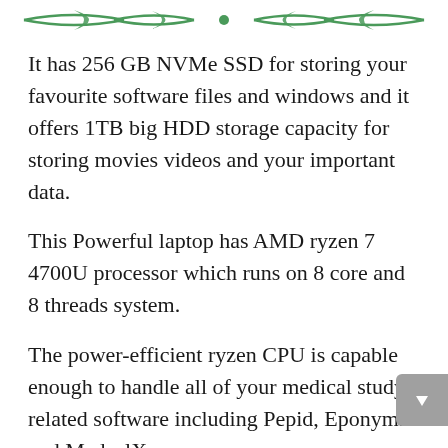[Figure (illustration): Green decorative divider with arrow/leaf motifs pointing inward toward a central dot]
It has 256 GB NVMe SSD for storing your favourite software files and windows and it offers 1TB big HDD storage capacity for storing movies videos and your important data.
This Powerful laptop has AMD ryzen 7 4700U processor which runs on 8 core and 8 threads system.
The power-efficient ryzen CPU is capable enough to handle all of your medical study-related software including Pepid, Eponyms and MedcalX.
Inside this Asus integrative big 15.6 inch display which has incredible pictures showing capability with vivid video.